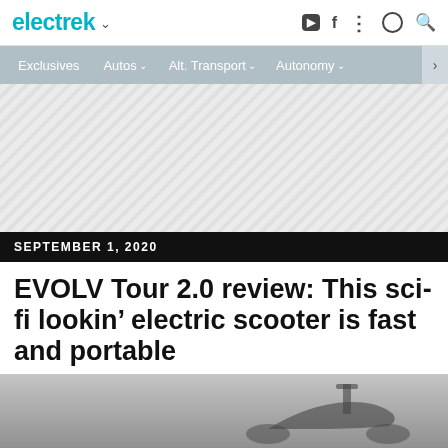electrek
Exclusives | Autos | Alt. Transport | Autonomy
[Figure (other): Advertisement banner area with diagonal hatching pattern]
SEPTEMBER 1, 2020
EVOLV Tour 2.0 review: This sci-fi lookin' electric scooter is fast and portable
Micah Toll  -  Sep. 1st 2020 12:11 pm PT  @MicahToll
[Figure (photo): Bottom portion of an electric scooter on a grey surface]